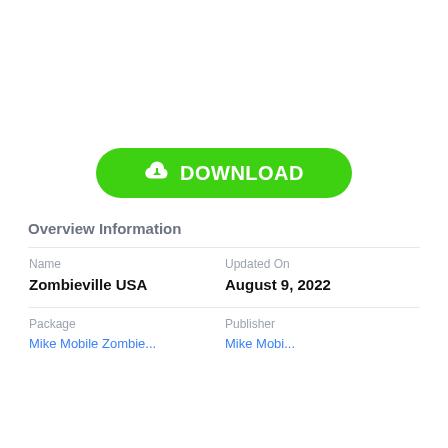[Figure (other): Green download button with cloud/arrow icon and text DOWNLOAD]
Overview Information
| Name | Updated On |
| --- | --- |
| Zombieville USA | August 9, 2022 |
| Package | Publisher |
| --- | --- |
| MikeMobile.Zombieville... | MikeMobile... |